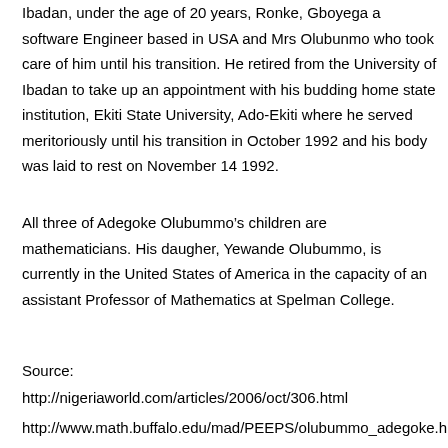Ibadan, under the age of 20 years, Ronke, Gboyega a software Engineer based in USA and Mrs Olubunmo who took care of him until his transition. He retired from the University of Ibadan to take up an appointment with his budding home state institution, Ekiti State University, Ado-Ekiti where he served meritoriously until his transition in October 1992 and his body was laid to rest on November 14 1992.
All three of Adegoke Olubummo’s children are mathematicians. His daugher, Yewande Olubummo, is currently in the United States of America in the capacity of an assistant Professor of Mathematics at Spelman College.
Source:
http://nigeriaworld.com/articles/2006/oct/306.html
http://www.math.buffalo.edu/mad/PEEPS/olubummo_adegoke.h